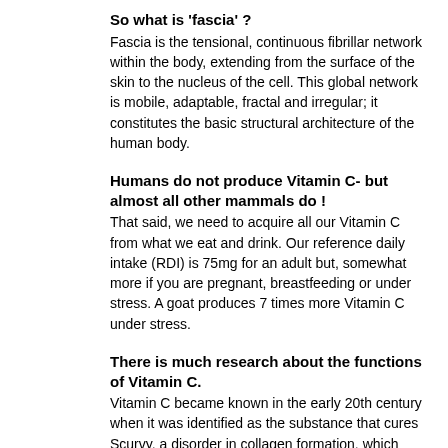So what is 'fascia' ?
Fascia is the tensional, continuous fibrillar network within the body, extending from the surface of the skin to the nucleus of the cell. This global network is mobile, adaptable, fractal and irregular; it constitutes the basic structural architecture of the human body.
Humans do not produce Vitamin C- but almost all other mammals do !
That said, we need to acquire all our Vitamin C from what we eat and drink. Our reference daily intake (RDI) is 75mg for an adult but, somewhat more if you are pregnant, breastfeeding or under stress. A goat produces 7 times more Vitamin C under stress.
There is much research about the functions of Vitamin C.
Vitamin C became known in the early 20th century when it was identified as the substance that cures Scurvy, a disorder in collagen formation, which affected people with severe vitamin C deficiency. Since collagen is the body's most common protein and is found in all types of connective tissue